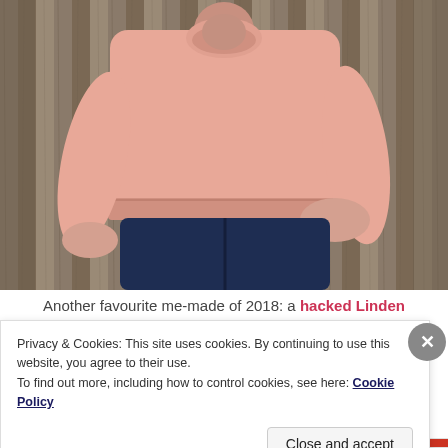[Figure (photo): Woman wearing a pink long-sleeve sweatshirt (hacked Linden Sweatshirt made with bamboo-cotton fleece) with dark jeans, standing in front of a wooden fence background]
Another favourite me-made of 2018: a hacked Linden Sweatshirt made with bamboo-cotton fleece
Privacy & Cookies: This site uses cookies. By continuing to use this website, you agree to their use.
To find out more, including how to control cookies, see here: Cookie Policy
Close and accept